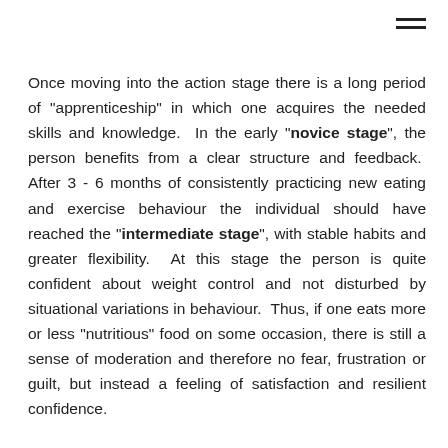Once moving into the action stage there is a long period of "apprenticeship" in which one acquires the needed skills and knowledge.  In the early "novice stage", the person benefits from a clear structure and feedback.  After 3 - 6 months of consistently practicing new eating and exercise behaviour the individual should have reached the "intermediate stage", with stable habits and greater flexibility.  At this stage the person is quite confident about weight control and not disturbed by situational variations in behaviour.  Thus, if one eats more or less "nutritious" food on some occasion, there is still a sense of moderation and therefore no fear, frustration or guilt, but instead a feeling of satisfaction and resilient confidence.